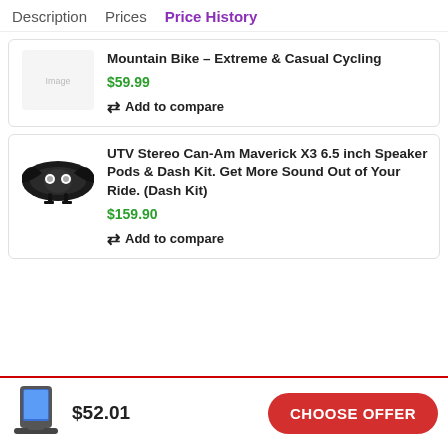Description   Prices   Price History
Mountain Bike – Extreme & Casual Cycling
$59.99
Add to compare
[Figure (photo): UTV stereo speaker pod/dash kit product image resembling a bat-wing shape, black]
UTV Stereo Can-Am Maverick X3 6.5 inch Speaker Pods & Dash Kit. Get More Sound Out of Your Ride. (Dash Kit)
$159.90
Add to compare
[Figure (photo): Small phone stand/dock device with a phone inserted, shown at bottom bar]
$52.01
CHOOSE OFFER